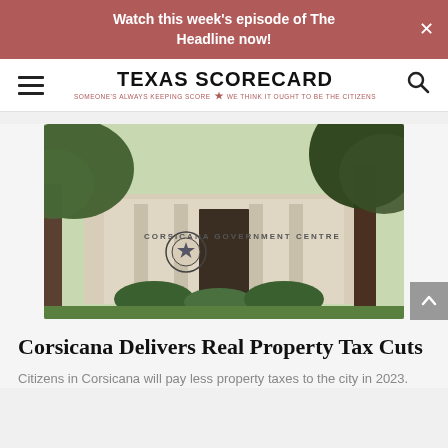Watch this week's episode of The Headline now!
[Figure (logo): Texas Scorecard logo with tagline: SOMEONE'S ALWAYS KEEPING SCORE — WE THINK IT OUGHT TO BE THE CITIZENS]
[Figure (photo): Exterior photo of Corsicana Government Centre building with trees and landscaping, Texas star seal on wall]
Corsicana Delivers Real Property Tax Cuts
Citizens in Corsicana will pay less property taxes to the city in 2023.